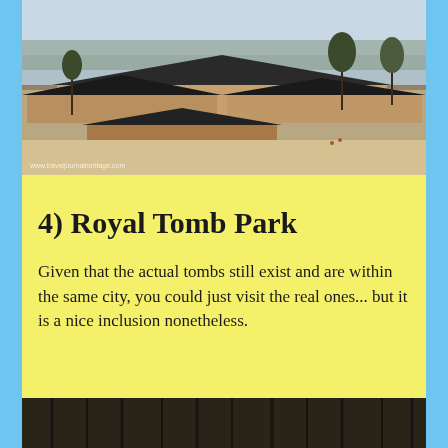[Figure (photo): Aerial view of a Korean traditional palace or heritage site with multiple low-rise buildings with dark tiled roofs, courtyard, and sparse trees in winter. Watermark: www.traveljournalheritage.com]
4) Royal Tomb Park
Given that the actual tombs still exist and are within the same city, you could just visit the real ones... but it is a nice inclusion nonetheless.
[Figure (photo): Ground-level photo of a Korean royal tomb mound (tumulus) with a stone marker in front, surrounded by bare trees and dry grass in winter.]